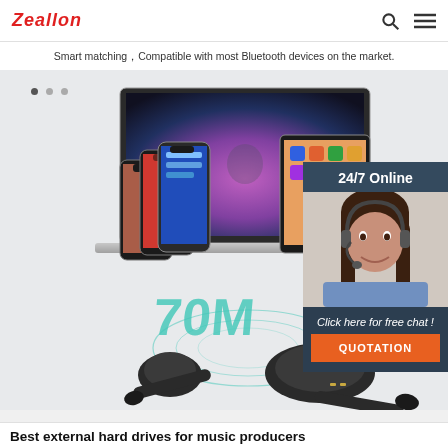Zeallon
Smart matching，Compatible with most Bluetooth devices on the market.
[Figure (photo): Product page showing wireless earbuds (TWS earphones) alongside multiple devices including laptop, tablet, and smartphones. A '70M' range indicator is shown in teal text beneath the devices. A customer service chat widget appears on the right side with a woman wearing a headset, labeled '24/7 Online', with a 'Click here for free chat!' message and an orange QUOTATION button.]
Best external hard drives for music producers